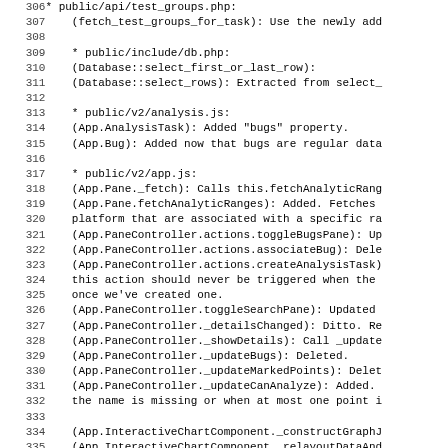Code listing lines 306-338 showing changelog/diff comments for public/api/test_groups.php, public/include/db.php, public/v2/analysis.js, and public/v2/app.js
| line | content |
| --- | --- |
| 306 | * public/api/test_groups.php: |
| 307 |     (fetch_test_groups_for_task): Use the newly add |
| 308 |  |
| 309 |     * public/include/db.php: |
| 310 |     (Database::select_first_or_last_row): |
| 311 |     (Database::select_rows): Extracted from select_ |
| 312 |  |
| 313 |     * public/v2/analysis.js: |
| 314 |     (App.AnalysisTask): Added "bugs" property. |
| 315 |     (App.Bug): Added now that bugs are regular data |
| 316 |  |
| 317 |     * public/v2/app.js: |
| 318 |     (App.Pane._fetch): Calls this.fetchAnalyticRang |
| 319 |     (App.Pane.fetchAnalyticRanges): Added. Fetches |
| 320 |     platform that are associated with a specific ra |
| 321 |     (App.PaneController.actions.toggleBugsPane): Up |
| 322 |     (App.PaneController.actions.associateBug): Dele |
| 323 |     (App.PaneController.actions.createAnalysisTask) |
| 324 |     this action should never be triggered when the |
| 325 |     once we've created one. |
| 326 |     (App.PaneController.toggleSearchPane): Updated |
| 327 |     (App.PaneController._detailsChanged): Ditto. Re |
| 328 |     (App.PaneController._showDetails): Call _update |
| 329 |     (App.PaneController._updateBugs): Deleted. |
| 330 |     (App.PaneController._updateMarkedPoints): Delet |
| 331 |     (App.PaneController._updateCanAnalyze): Added. |
| 332 |     the name is missing or when at most one point i |
| 333 |  |
| 334 |     (App.InteractiveChartComponent._constructGraphJ |
| 335 |     (App.InteractiveChartComponent._relayoutDataAnd |
| 336 |     (App.InteractiveChartComponent._mousePointInGra |
| 337 |     on our svg element to avoid locking the current |
| 338 |     (App.InteractiveChartComponent._rangesChanged) |